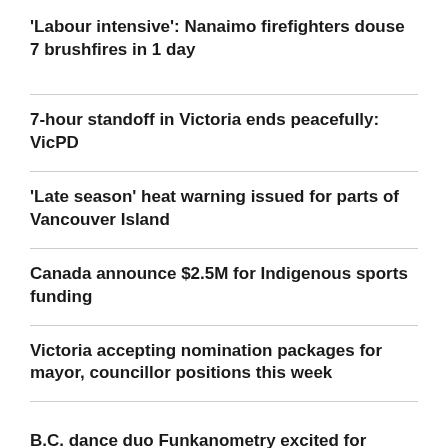'Labour intensive': Nanaimo firefighters douse 7 brushfires in 1 day
7-hour standoff in Victoria ends peacefully: VicPD
'Late season' heat warning issued for parts of Vancouver Island
Canada announce $2.5M for Indigenous sports funding
Victoria accepting nomination packages for mayor, councillor positions this week
B.C. dance duo Funkanometry excited for